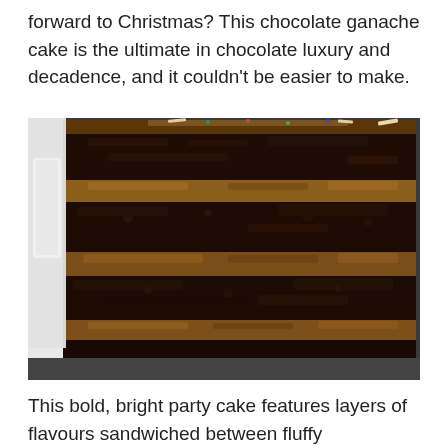forward to Christmas? This chocolate ganache cake is the ultimate in chocolate luxury and decadence, and it couldn't be easier to make.
[Figure (photo): A cross-section slice of a multi-layered chocolate ganache cake on a red-rimmed plate. The cake shows four dark chocolate sponge layers separated by thick bands of chocolate ganache/mousse filling. The top is decorated with sprinkles and chocolate pieces.]
This bold, bright party cake features layers of flavours sandwiched between fluffy bubblegum